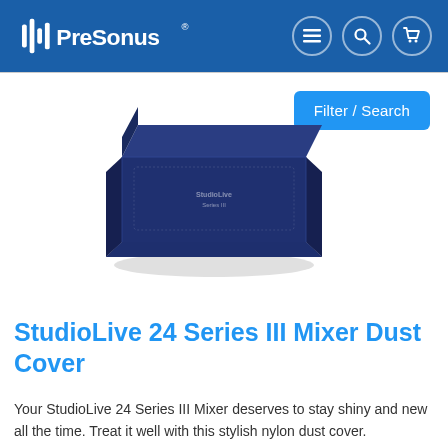PreSonus
[Figure (photo): Navy blue nylon dust cover for StudioLive 24 Series III Mixer, shown at an angle on a white background. The cover has a wedge shape matching the mixer's profile with 'StudioLive Series III' text embroidered on top.]
StudioLive 24 Series III Mixer Dust Cover
Your StudioLive 24 Series III Mixer deserves to stay shiny and new all the time. Treat it well with this stylish nylon dust cover.